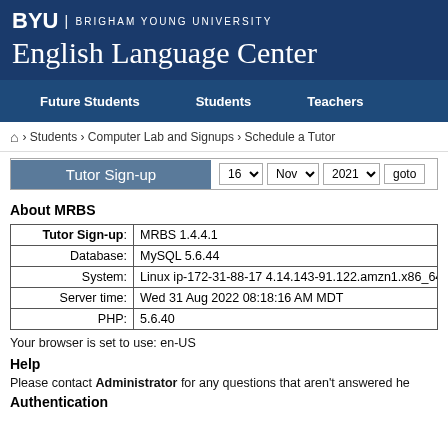BYU | BRIGHAM YOUNG UNIVERSITY
English Language Center
Future Students   Students   Teachers
🏠 › Students › Computer Lab and Signups › Schedule a Tutor
Tutor Sign-up   16 ▼   Nov ▼   2021 ▼   goto
About MRBS
|  |  |
| --- | --- |
| Tutor Sign-up: | MRBS 1.4.4.1 |
| Database: | MySQL 5.6.44 |
| System: | Linux ip-172-31-88-17 4.14.143-91.122.amzn1.x86_64 |
| Server time: | Wed 31 Aug 2022 08:18:16 AM MDT |
| PHP: | 5.6.40 |
Your browser is set to use: en-US
Help
Please contact Administrator for any questions that aren't answered he
Authentication